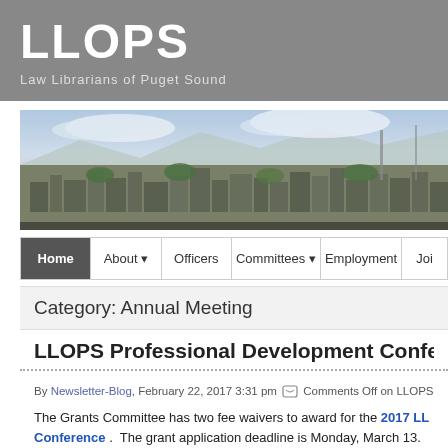LLOPS — Law Librarians of Puget Sound
[Figure (photo): Aerial/panoramic photo of a city (presumably Seattle/Tacoma area) with mountains in the background, buildings in the foreground, and a partly cloudy sky.]
Home | About | Officers | Committees | Employment | Joi...
Category: Annual Meeting
LLOPS Professional Development Conference...
By Newsletter-Blog, February 22, 2017 3:31 pm  Comments Off on LLOPS...
The Grants Committee has two fee waivers to award for the 2017 LL... Conference. The grant application deadline is Monday, March 13... would like assistance with registration, please fill out the 2016 grant...